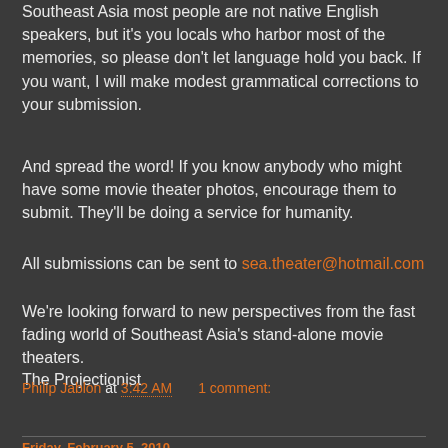Southeast Asia most people are not native English speakers, but it's you locals who harbor most of the memories, so please don't let language hold you back. If you want, I will make modest grammatical corrections to your submission.
And spread the word! If you know anybody who might have some movie theater photos, encourage them to submit. They'll be doing a service for humanity.
All submissions can be sent to sea.theater@hotmail.com
We're looking forward to new perspectives from the fast fading world of Southeast Asia's stand-alone movie theaters.
The Projectionist
Philip Jablon at 3:42 AM   1 comment:
Friday, February 5, 2010